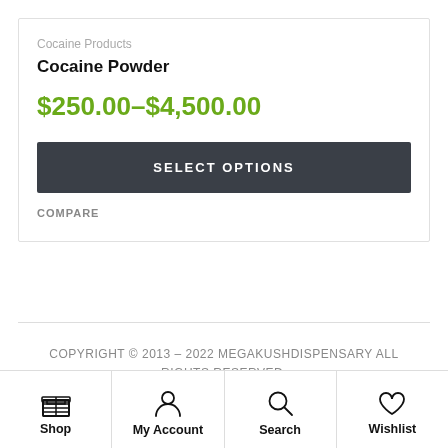Cocaine Products
Cocaine Powder
$250.00–$4,500.00
SELECT OPTIONS
COMPARE
COPYRIGHT © 2013 – 2022 MEGAKUSHDISPENSARY ALL RIGHTS RESERVED.
Shop
My Account
Search
Wishlist